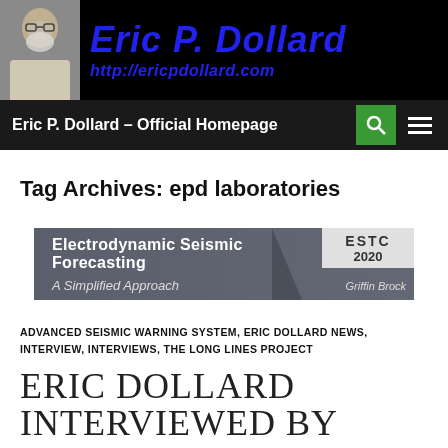Eric P. Dollard — http://ericpdollard.com
Eric P. Dollard – Official Homepage
Tag Archives: epd laboratories
[Figure (illustration): Banner for 'Electrodynamic Seismic Forecasting – A Simplified Approach' by Griffin Brock, ESTC 2020]
ADVANCED SEISMIC WARNING SYSTEM, ERIC DOLLARD NEWS, INTERVIEW, INTERVIEWS, THE LONG LINES PROJECT
ERIC DOLLARD INTERVIEWED BY SCOTT